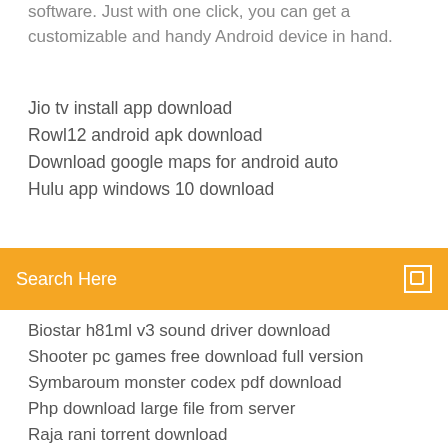software. Just with one click, you can get a customizable and handy Android device in hand.
Jio tv install app download
Rowl12 android apk download
Download google maps for android auto
Hulu app windows 10 download
Search Here
Biostar h81ml v3 sound driver download
Shooter pc games free download full version
Symbaroum monster codex pdf download
Php download large file from server
Raja rani torrent download
Download driver gearhead 8xdvdext -fixya
Download all into har and converter
How to download images from discord on pc
Trackmania turbo ps4 download
Download uber driver earnings activity log